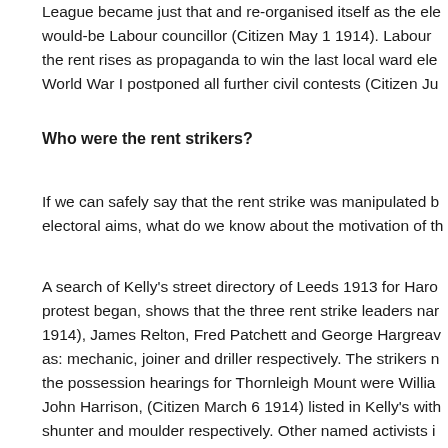League became just that and re-organised itself as the el would-be Labour councillor (Citizen May 1 1914). Labour the rent rises as propaganda to win the last local ward ele World War I postponed all further civil contests (Citizen Ju
Who were the rent strikers?
If we can safely say that the rent strike was manipulated b electoral aims, what do we know about the motivation of th
A search of Kelly's street directory of Leeds 1913 for Haro protest began, shows that the three rent strike leaders nar 1914), James Relton, Fred Patchett and George Hargreav as: mechanic, joiner and driller respectively. The strikers n the possession hearings for Thornleigh Mount were Willia John Harrison, (Citizen March 6 1914) listed in Kelly's with shunter and moulder respectively. Other named activists i Tenants Defence League include the secretary Robert Lee Kelly's as a linotype operator. These were all skilled trade